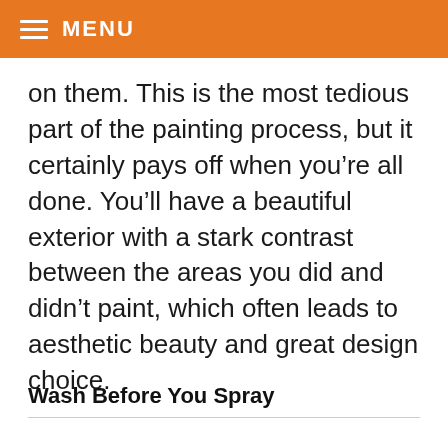MENU
on them. This is the most tedious part of the painting process, but it certainly pays off when you’re all done. You’ll have a beautiful exterior with a stark contrast between the areas you did and didn’t paint, which often leads to aesthetic beauty and great design choice.
Wash Before You Spray